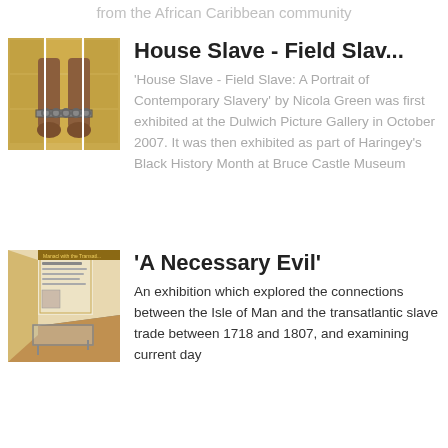from the African Caribbean community
House Slave - Field Slav...
'House Slave - Field Slave: A Portrait of Contemporary Slavery' by Nicola Green was first exhibited at the Dulwich Picture Gallery in October 2007. It was then exhibited as part of Haringey's Black History Month at Bruce Castle Museum
'A Necessary Evil'
An exhibition which explored the connections between the Isle of Man and the transatlantic slave trade between 1718 and 1807, and examining current day